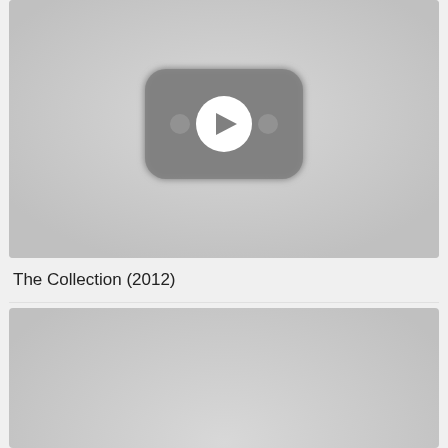[Figure (screenshot): Video thumbnail placeholder showing a YouTube-style play button icon on a gray background]
The Collection (2012)
[Figure (screenshot): Second video thumbnail placeholder showing a YouTube-style play button icon on a gray background, partially cut off]